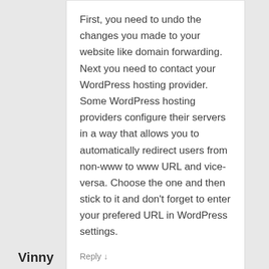First, you need to undo the changes you made to your website like domain forwarding. Next you need to contact your WordPress hosting provider. Some WordPress hosting providers configure their servers in a way that allows you to automatically redirect users from non-www to www URL and vice-versa. Choose the one and then stick to it and don't forget to enter your prefered URL in WordPress settings.
Reply ↓
Vinny